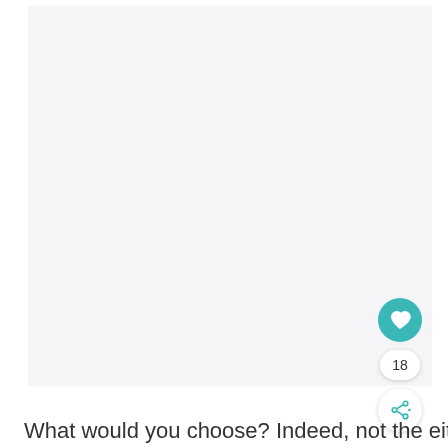[Figure (other): Large blank/white image area taking up most of the page]
[Figure (other): Teal circular heart/favorite button with heart icon]
18
[Figure (other): White circular share button with share icon and plus sign]
What would you choose? Indeed, not the either